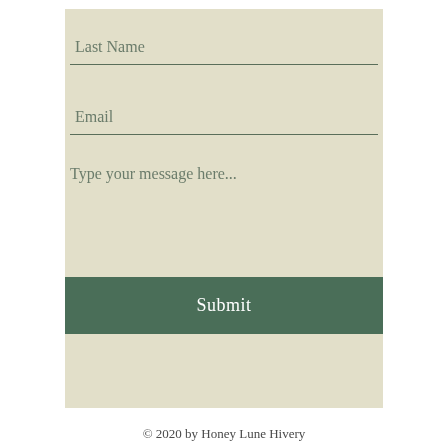Last Name
Email
Type your message here...
Submit
© 2020 by Honey Lune Hivery